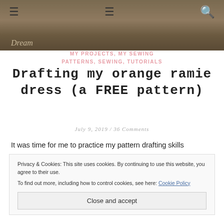[Figure (photo): Top hero/banner photograph of an outdoor scene with foliage, partially cropped, with a cursive 'Dream' logo overlay at lower left]
MY PROJECTS, MY SEWING PATTERNS, SEWING, TUTORIALS
Drafting my orange ramie dress (a FREE pattern)
July 9, 2019 / 36 Comments
It was time for me to practice my pattern drafting skills
Privacy & Cookies: This site uses cookies. By continuing to use this website, you agree to their use.
To find out more, including how to control cookies, see here: Cookie Policy
Close and accept